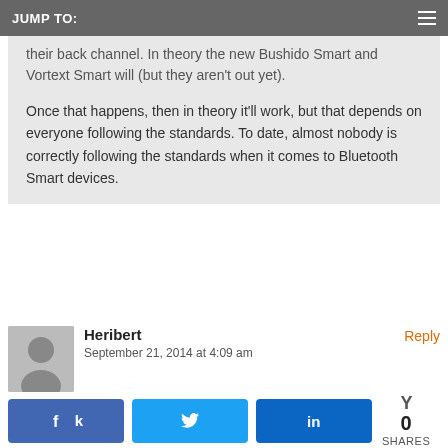JUMP TO:
their back channel. In theory the new Bushido Smart and Vortext Smart will (but they aren't out yet).

Once that happens, then in theory it'll work, but that depends on everyone following the standards. To date, almost nobody is correctly following the standards when it comes to Bluetooth Smart devices.
Heribert
September 21, 2014 at 4:09 am
#95
Ok. I see. Better to await the release of Power Pedals and thus firmware update from Polar.